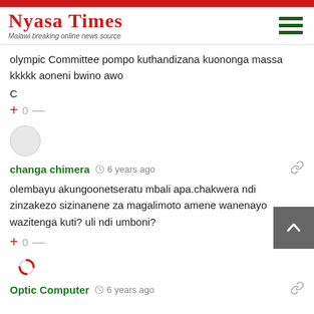Nyasa Times — Malawi breaking online news source
olympic Committee pompo kuthandizana kuononga massa kkkkk aoneni bwino awo
C
+ 0 —
changa chimera · 6 years ago
olembayu akungoonetseratu mbali apa.chakwera ndi zinzakezo sizinanene za magalimoto amene wanenayo wazitenga kuti? uli ndi umboni?
+ 0 —
Optic Computer · 6 years ago